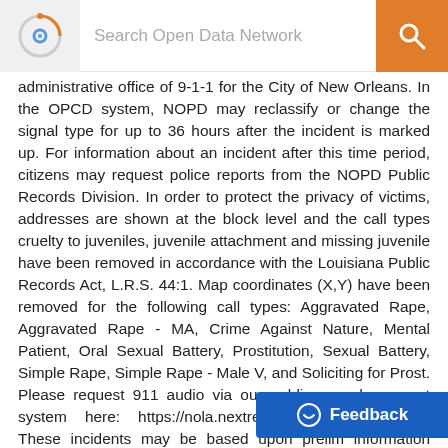Search Open Data Network
administrative office of 9-1-1 for the City of New Orleans. In the OPCD system, NOPD may reclassify or change the signal type for up to 36 hours after the incident is marked up. For information about an incident after this time period, citizens may request police reports from the NOPD Public Records Division. In order to protect the privacy of victims, addresses are shown at the block level and the call types cruelty to juveniles, juvenile attachment and missing juvenile have been removed in accordance with the Louisiana Public Records Act, L.R.S. 44:1. Map coordinates (X,Y) have been removed for the following call types: Aggravated Rape, Aggravated Rape - MA, Crime Against Nature, Mental Patient, Oral Sexual Battery, Prostitution, Sexual Battery, Simple Rape, Simple Rape - Male V, and Soliciting for Prost. Please request 911 audio via our public records request system here: https://nola.nextrequest.com. Disclaimer: These incidents may be based upon prelim information provided to the Police D...